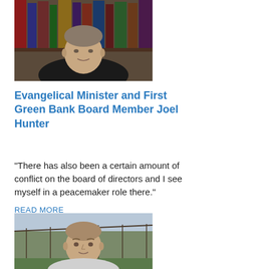[Figure (photo): Portrait photo of a man in a dark suit and tie, seated in front of a bookshelf]
Evangelical Minister and First Green Bank Board Member Joel Hunter
"There has also been a certain amount of conflict on the board of directors and I see myself in a peacemaker role there."
READ MORE
[Figure (photo): Portrait photo of a man with short hair outdoors near a greenhouse or farm structure]